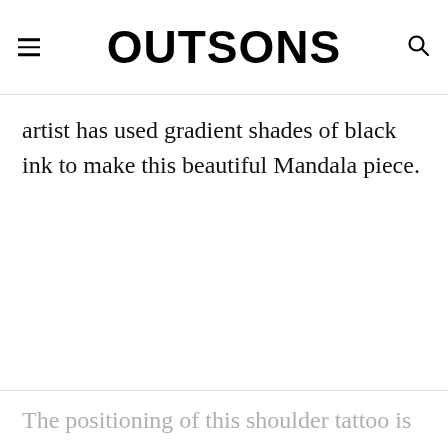OUTSONS
artist has used gradient shades of black ink to make this beautiful Mandala piece.
The positioning of this shoulder tattoo is